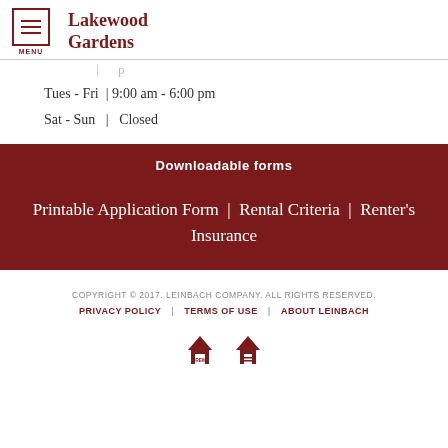Lakewood Gardens
Tues - Fri | 9:00 am - 6:00 pm
Sat - Sun | Closed
Downloadable forms
Printable Application Form | Rental Criteria | Renter's Insurance
COPYRIGHT © 2017. LEINBACH COMPANY. ALL RIGHTS RESERVED.
PRIVACY POLICY | TERMS OF USE | ABOUT LEINBACH